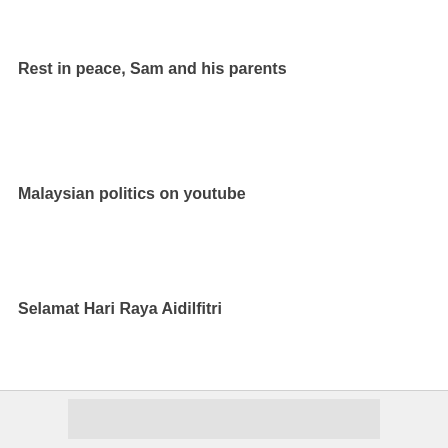Rest in peace, Sam and his parents
Malaysian politics on youtube
Selamat Hari Raya Aidilfitri